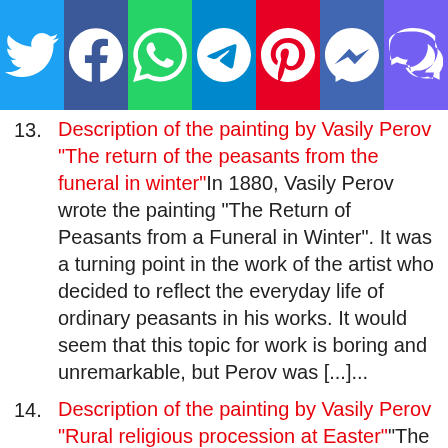[Figure (infographic): Social media sharing bar with icons: Twitter (blue), Facebook (dark blue), WhatsApp (green), Telegram (light blue), Pinterest (red), Messenger (blue-purple), Viber (purple)]
13. Description of the painting by Vasily Perov "The return of the peasants from the funeral in winter" In 1880, Vasily Perov wrote the painting "The Return of Peasants from a Funeral in Winter". It was a turning point in the work of the artist who decided to reflect the everyday life of ordinary peasants in his works. It would seem that this topic for work is boring and unremarkable, but Perov was [...]...
14. Description of the painting by Vasily Perov "Rural religious procession at Easter" "The village religious procession at Easter" was Vasily Grigorievich Perov written in 1861. At this time of reforms and transformations, in the year of the abolition of serfdom, the artist sought, through a realistic plot, to convey subtle criticism of modern Russian society. He took it upon himself to dare to denounce some of the [...]